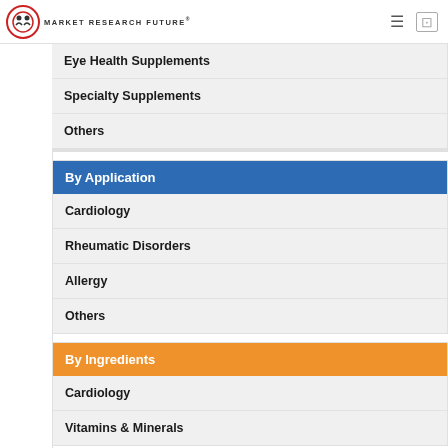MARKET RESEARCH FUTURE
Eye Health Supplements
Specialty Supplements
Others
By Application
Cardiology
Rheumatic Disorders
Allergy
Others
By Ingredients
Cardiology
Vitamins & Minerals